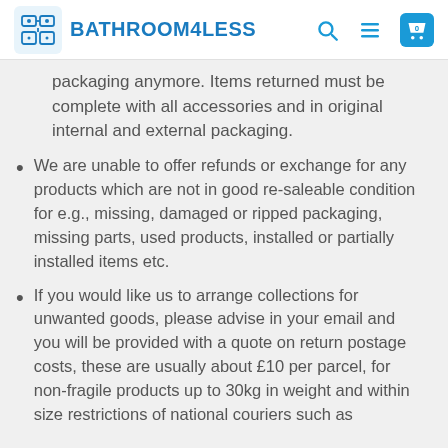BATHROOM4LESS
packaging anymore. Items returned must be complete with all accessories and in original internal and external packaging.
We are unable to offer refunds or exchange for any products which are not in good resaleable condition for e.g., missing, damaged or ripped packaging, missing parts, used products, installed or partially installed items etc.
If you would like us to arrange collections for unwanted goods, please advise in your email and you will be provided with a quote on return postage costs, these are usually about £10 per parcel, for non-fragile products up to 30kg in weight and within size restrictions of national couriers such as